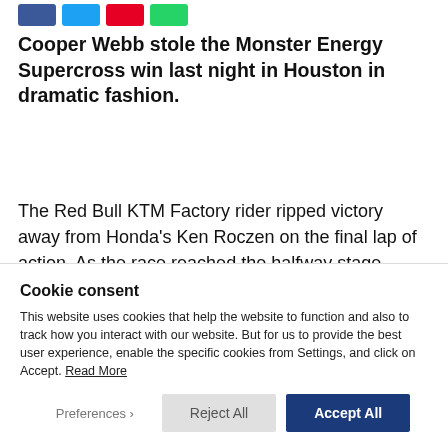[Figure (other): Social media share buttons: Facebook (blue), Twitter (light blue), Pinterest (red), WhatsApp (green)]
Cooper Webb stole the Monster Energy Supercross win last night in Houston in dramatic fashion.
The Red Bull KTM Factory rider ripped victory away from Honda’s Ken Roczen on the final lap of action. As the race reached the halfway stage, heavy lapped traffic helped Cooper close…
Cookie consent
This website uses cookies that help the website to function and also to track how you interact with our website. But for us to provide the best user experience, enable the specific cookies from Settings, and click on Accept. Read More